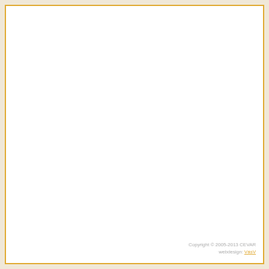Copyright © 2005-2013 CEVAR webdesign: VásV